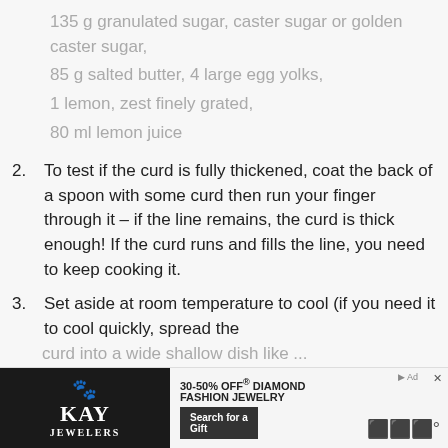135 g granulated sugar, caster sugar or golden caster sugar,
85 g salted butter, 4 large egg yolks,
1 lemon, zest finely grated,
80 ml lemon juice
2. To test if the curd is fully thickened, coat the back of a spoon with some curd then run your finger through it – if the line remains, the curd is thick enough! If the curd runs and fills the line, you need to keep cooking it.
3. Set aside at room temperature to cool (if you need it to cool quickly, spread the
[Figure (other): KAY Jewelers advertisement banner with dog photo and '30-50% OFF DIAMOND FASHION JEWELRY / Search for a Gift' text]